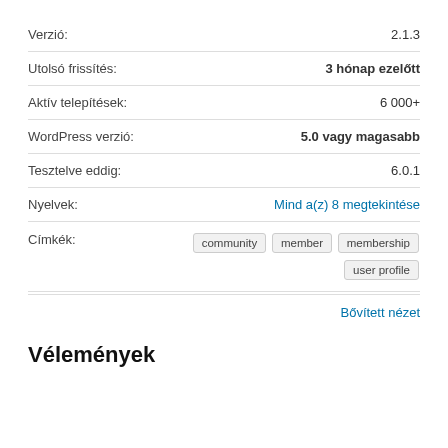| Verzió: | 2.1.3 |
| Utolsó frissítés: | 3 hónap ezelőtt |
| Aktív telepítések: | 6 000+ |
| WordPress verzió: | 5.0 vagy magasabb |
| Tesztelve eddig: | 6.0.1 |
| Nyelvek: | Mind a(z) 8 megtekintése |
| Címkék: | community  member  membership  user profile |
Bővített nézet
Vélemények